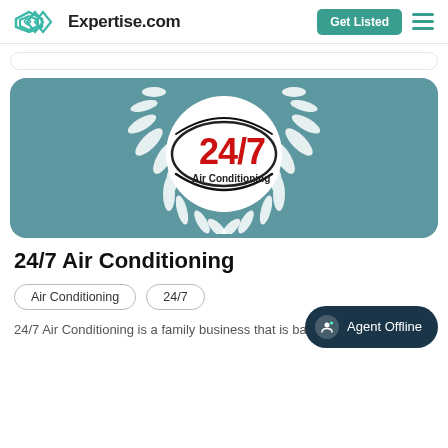Expertise.com
[Figure (logo): 24/7 Air Conditioning business logo with laurel wreath on teal background]
24/7 Air Conditioning
Air Conditioning
24/7
24/7 Air Conditioning is a family business that is based